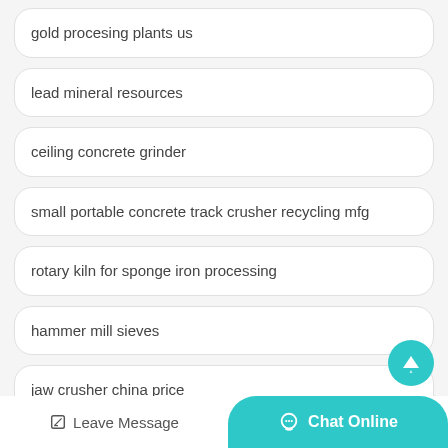gold procesing plants us
lead mineral resources
ceiling concrete grinder
small portable concrete track crusher recycling mfg
rotary kiln for sponge iron processing
hammer mill sieves
jaw crusher china price
Leave Message  Chat Online